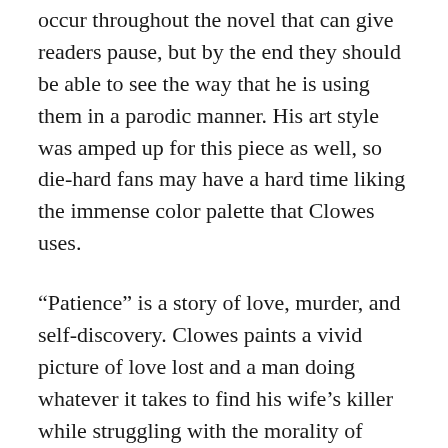occur throughout the novel that can give readers pause, but by the end they should be able to see the way that he is using them in a parodic manner. His art style was amped up for this piece as well, so die-hard fans may have a hard time liking the immense color palette that Clowes uses.
“Patience” is a story of love, murder, and self-discovery. Clowes paints a vivid picture of love lost and a man doing whatever it takes to find his wife’s killer while struggling with the morality of changing fate. The visuals are so beautifully executed that Clowes’ storytelling is amplified by their use.